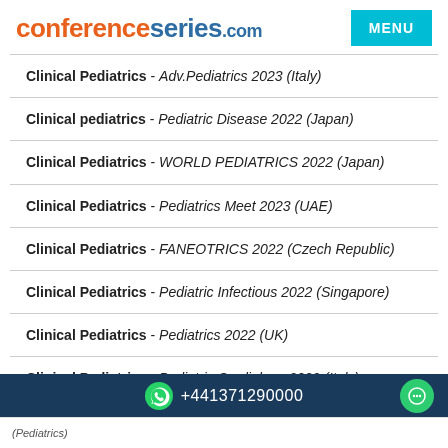conferenceseries.com
Clinical Pediatrics - Adv.Pediatrics 2023 (Italy)
Clinical pediatrics - Pediatric Disease 2022 (Japan)
Clinical Pediatrics - WORLD PEDIATRICS 2022 (Japan)
Clinical Pediatrics - Pediatrics Meet 2023 (UAE)
Clinical Pediatrics - FANEOTRICS 2022 (Czech Republic)
Clinical Pediatrics - Pediatric Infectious 2022 (Singapore)
Clinical Pediatrics - Pediatrics 2022 (UK)
Clinical Pediatrics - Pediatric Cardiology-2022 (Italy)
+441371290000